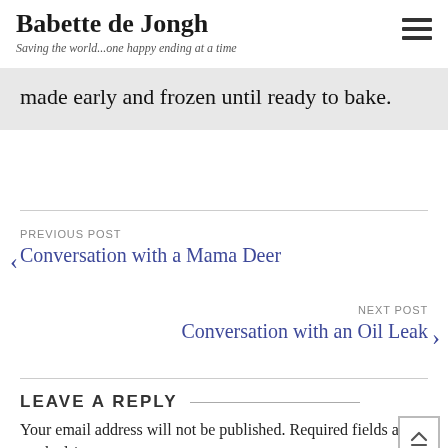Babette de Jongh
Saving the world...one happy ending at a time
made early and frozen until ready to bake.
PREVIOUS POST
Conversation with a Mama Deer
NEXT POST
Conversation with an Oil Leak
LEAVE A REPLY
Your email address will not be published. Required fields are marked *